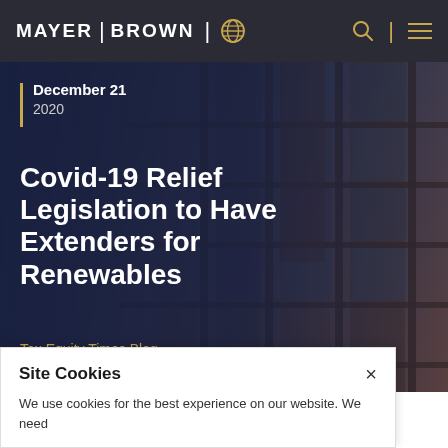MAYER BROWN
[Figure (photo): Architectural photo of a modern building facade with dark metal and glass panels, viewed at an angle]
December 21
2020
Covid-19 Relief Legislation to Have Extenders for Renewables
Tax Equity Times Blog
Site Cookies
We use cookies for the best experience on our website. We need